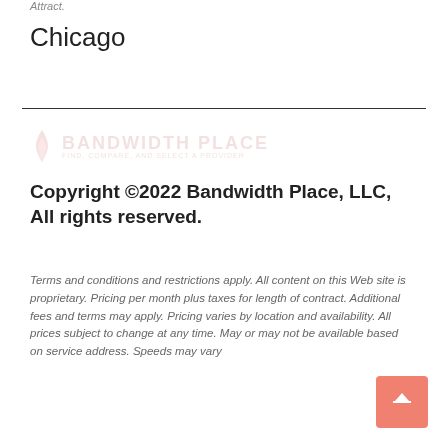Attract.
Chicago
Copyright ©2022 Bandwidth Place, LLC, All rights reserved.
Terms and conditions and restrictions apply. All content on this Web site is proprietary. Pricing per month plus taxes for length of contract. Additional fees and terms may apply. Pricing varies by location and availability. All prices subject to change at any time. May or may not be available based on service address. Speeds may vary